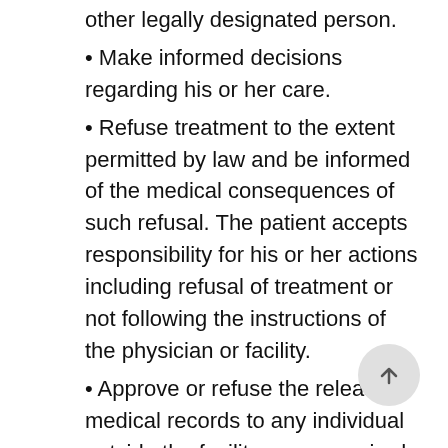other legally designated person.
Make informed decisions regarding his or her care.
Refuse treatment to the extent permitted by law and be informed of the medical consequences of such refusal. The patient accepts responsibility for his or her actions including refusal of treatment or not following the instructions of the physician or facility.
Approve or refuse the release of medical records to any individual outside the facility, or as required by law or third party payment contract.
Be informed of any human experimentation or other